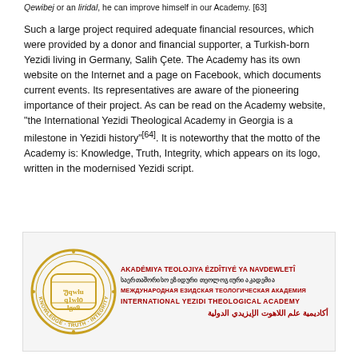Qewibej or an liridal, he can improve himself in our Academy. [63]
Such a large project required adequate financial resources, which were provided by a donor and financial supporter, a Turkish-born Yezidi living in Germany, Salih Çete. The Academy has its own website on the Internet and a page on Facebook, which documents current events. Its representatives are aware of the pioneering importance of their project. As can be read on the Academy website, "the International Yezidi Theological Academy in Georgia is a milestone in Yezidi history"[64]. It is noteworthy that the motto of the Academy is: Knowledge, Truth, Integrity, which appears on its logo, written in the modernised Yezidi script.
[Figure (logo): Logo of the International Yezidi Theological Academy featuring a circular gold emblem with Yezidi script and the motto Knowledge, Truth, Integrity, alongside multilingual text in Latin (Kurmanji), Georgian, Russian, English, and Arabic.]